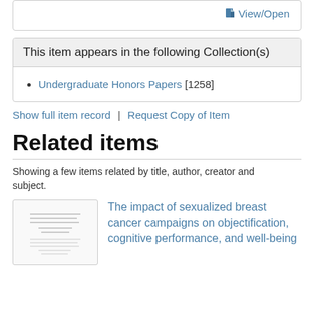View/Open
This item appears in the following Collection(s)
Undergraduate Honors Papers [1258]
Show full item record | Request Copy of Item
Related items
Showing a few items related by title, author, creator and subject.
[Figure (illustration): Thumbnail of a document page with horizontal lines of text]
The impact of sexualized breast cancer campaigns on objectification, cognitive performance, and well-being